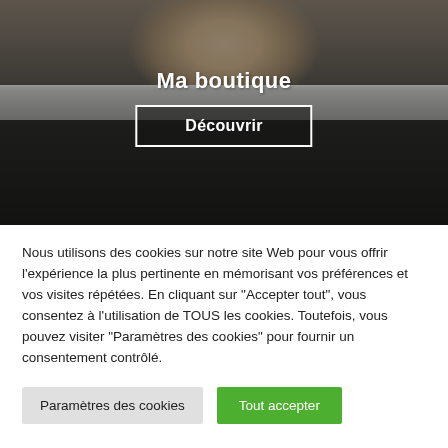[Figure (photo): A smiling blonde woman holding a decorative pouch/bag with a patterned black fabric featuring colorful icons, with a silver/grey zipper area. Text overlay reads 'Ma boutique' and a 'Découvrir' button.]
Nous utilisons des cookies sur notre site Web pour vous offrir l'expérience la plus pertinente en mémorisant vos préférences et vos visites répétées. En cliquant sur "Accepter tout", vous consentez à l'utilisation de TOUS les cookies. Toutefois, vous pouvez visiter "Paramètres des cookies" pour fournir un consentement contrôlé.
Paramètres des cookies
Tout accepter